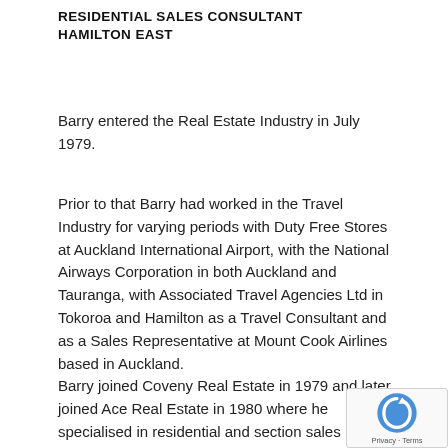RESIDENTIAL SALES CONSULTANT
HAMILTON EAST
Barry entered the Real Estate Industry in July 1979.
Prior to that Barry had worked in the Travel Industry for varying periods with Duty Free Stores at Auckland International Airport, with the National Airways Corporation in both Auckland and Tauranga, with Associated Travel Agencies Ltd in Tokoroa and Hamilton as a Travel Consultant and as a Sales Representative at Mount Cook Airlines based in Auckland.
Barry joined Coveny Real Estate in 1979 and later joined Ace Real Estate in 1980 where he specialised in residential and section sales including the marketing of the Ascot Mews,